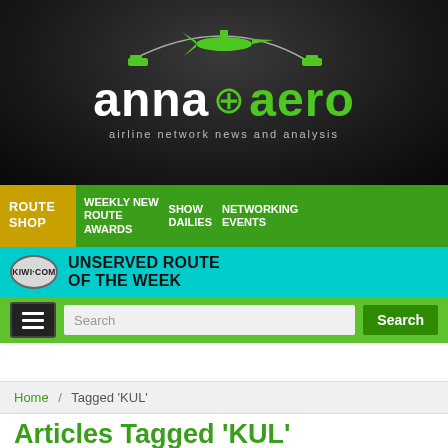[Figure (logo): anna.aero logo with airplane graphic and tagline 'airline network news and analysis']
ROUTE SHOP | WEEKLY NEW ROUTE AWARDS | SHOW DAILIES | NETWORKING EVENTS
[Figure (logo): kiwi.com UNSERVED ROUTE OF THE WEEK banner]
Search
Home / Tagged 'KUL'
Articles Tagged 'KUL'
13 Mar 2009
New routes launched during the last week